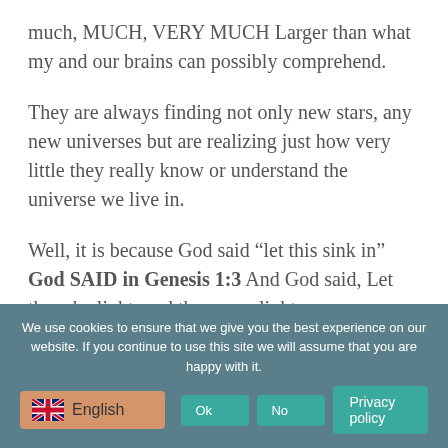much, MUCH, VERY MUCH Larger than what my and our brains can possibly comprehend.
They are always finding not only new stars, any new universes but are realizing just how very little they really know or understand the universe we live in.
Well, it is because God said “let this sink in” God SAID in Genesis 1:3 And God said, Let there be light: and there was light.
We use cookies to ensure that we give you the best experience on our website. If you continue to use this site we will assume that you are happy with it.
English | Privacy policy